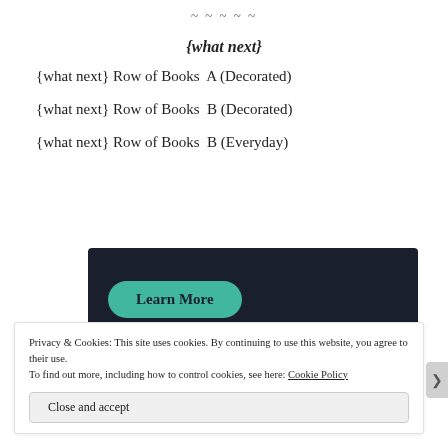~~~~~
{what next}
{what next} Row of Books  A (Decorated)
{what next} Row of Books  B (Decorated)
{what next} Row of Books  B (Everyday)
[Figure (screenshot): Dark banner with a teal 'Learn More' button on the left]
Privacy & Cookies: This site uses cookies. By continuing to use this website, you agree to their use.
To find out more, including how to control cookies, see here: Cookie Policy
Close and accept